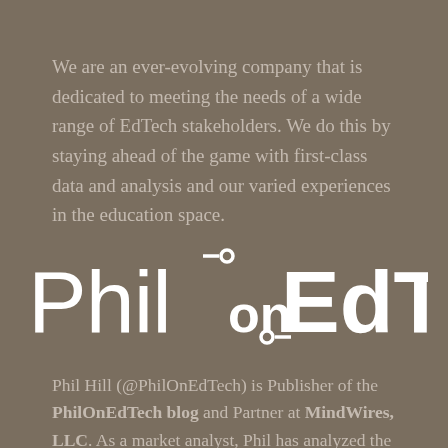We are an ever-evolving company that is dedicated to meeting the needs of a wide range of EdTech stakeholders. We do this by staying ahead of the game with first-class data and analysis and our varied experiences in the education space.
[Figure (logo): Phil on EdTech logo in large white bold text on brown/taupe background]
Phil Hill (@PhilOnEdTech) is Publisher of the PhilOnEdTech blog and Partner at MindWires, LLC. As a market analyst, Phil has analyzed the growth of